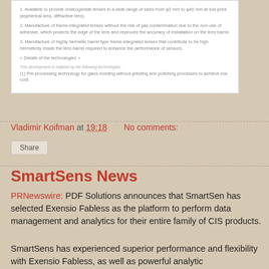[Figure (screenshot): White card showing numbered list items about chalcogenide lenses and frame-integrated lenses, technologies details link, and pre-processing technology note.]
Vladimir Koifman at 19:18    No comments:
Share
SmartSens News
PRNewswire: PDF Solutions announces that SmartSen has selected Exensio Fabless as the platform to perform data management and analytics for their entire family of CIS products.
SmartSens has experienced superior performance and flexibility with Exensio Fabless, as well as powerful analytic